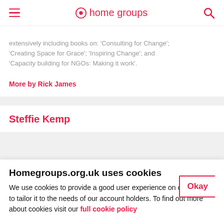home groups
extensively including books on: 'Consulting for Change'; 'Creating Space for Grace'; 'Inspiring Change'; and 'Capacity building for NGOs: Making it work'.
More by Rick James
Steffie Kemp
Homegroups.org.uk uses cookies
We use cookies to provide a good user experience on our site and to tailor it to the needs of our account holders. To find out more about cookies visit our full cookie policy